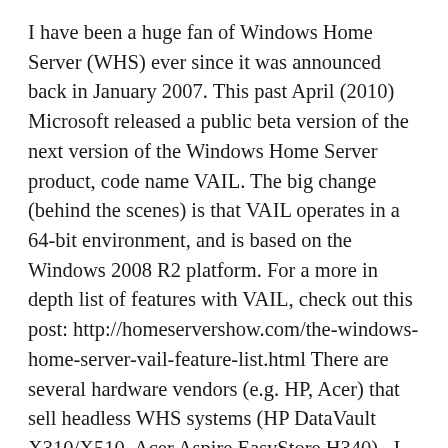I have been a huge fan of Windows Home Server (WHS) ever since it was announced back in January 2007. This past April (2010) Microsoft released a public beta version of the next version of the Windows Home Server product, code name VAIL. The big change (behind the scenes) is that VAIL operates in a 64-bit environment, and is based on the Windows 2008 R2 platform. For a more in depth list of features with VAIL, check out this post: http://homeservershow.com/the-windows-home-server-vail-feature-list.html There are several hardware vendors (e.g. HP, Acer) that sell headless WHS systems (HP DataVault X310/X510, Acer Aspire EasyStore H340) . I have had great … Continue reading Windows Home Server (V2) VAIL